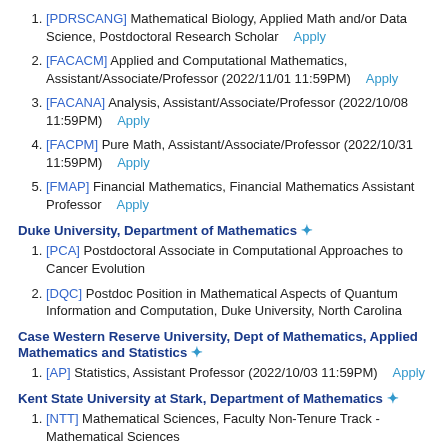[PDRSCANG] Mathematical Biology, Applied Math and/or Data Science, Postdoctoral Research Scholar   Apply
[FACACM] Applied and Computational Mathematics, Assistant/Associate/Professor (2022/11/01 11:59PM)   Apply
[FACANA] Analysis, Assistant/Associate/Professor (2022/10/08 11:59PM)   Apply
[FACPM] Pure Math, Assistant/Associate/Professor (2022/10/31 11:59PM)   Apply
[FMAP] Financial Mathematics, Financial Mathematics Assistant Professor   Apply
Duke University, Department of Mathematics *
[PCA] Postdoctoral Associate in Computational Approaches to Cancer Evolution
[DQC] Postdoc Position in Mathematical Aspects of Quantum Information and Computation, Duke University, North Carolina
Case Western Reserve University, Dept of Mathematics, Applied Mathematics and Statistics *
[AP] Statistics, Assistant Professor (2022/10/03 11:59PM)   Apply
Kent State University at Stark, Department of Mathematics *
[NTT] Mathematical Sciences, Faculty Non-Tenure Track - Mathematical Sciences